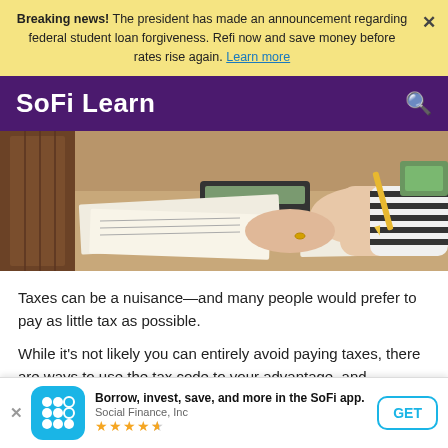Breaking news! The president has made an announcement regarding federal student loan forgiveness. Refi now and save money before rates rise again. Learn more
SoFi Learn
[Figure (photo): Person writing at a desk with a calculator and papers, wearing a striped shirt]
Taxes can be a nuisance—and many people would prefer to pay as little tax as possible.
While it's not likely you can entirely avoid paying taxes, there are ways to use the tax code to your advantage, and
Borrow, invest, save, and more in the SoFi app. Social Finance, Inc ★★★★½ GET